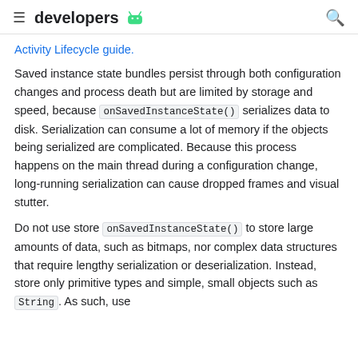developers
Activity Lifecycle guide.
Saved instance state bundles persist through both configuration changes and process death but are limited by storage and speed, because onSavedInstanceState() serializes data to disk. Serialization can consume a lot of memory if the objects being serialized are complicated. Because this process happens on the main thread during a configuration change, long-running serialization can cause dropped frames and visual stutter.
Do not use store onSavedInstanceState() to store large amounts of data, such as bitmaps, nor complex data structures that require lengthy serialization or deserialization. Instead, store only primitive types and simple, small objects such as String. As such, use